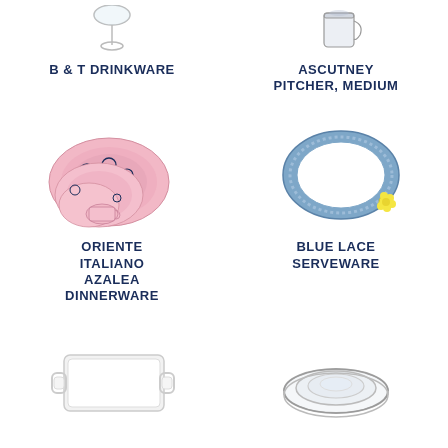[Figure (photo): B & T Drinkware product image - glassware item]
B & T DRINKWARE
[Figure (photo): Ascutney Pitcher, Medium product image]
ASCUTNEY PITCHER, MEDIUM
[Figure (photo): Oriente Italiano Azalea Dinnerware - pink plates with blue floral pattern and teacup]
ORIENTE ITALIANO AZALEA DINNERWARE
[Figure (photo): Blue Lace Serveware - oval serving plate with blue lace border]
BLUE LACE SERVEWARE
[Figure (photo): White rectangular handled tray serveware]
[Figure (photo): Crystal glass bowl or coaster item]